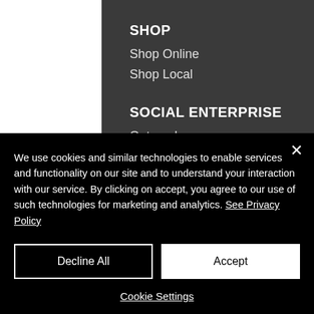SHOP
Shop Online
Shop Local
SOCIAL ENTERPRISE
Outreach
CONTACT
FAQ
Contact Us
We use cookies and similar technologies to enable services and functionality on our site and to understand your interaction with our service. By clicking on accept, you agree to our use of such technologies for marketing and analytics. See Privacy Policy
Decline All | Accept | Cookie Settings